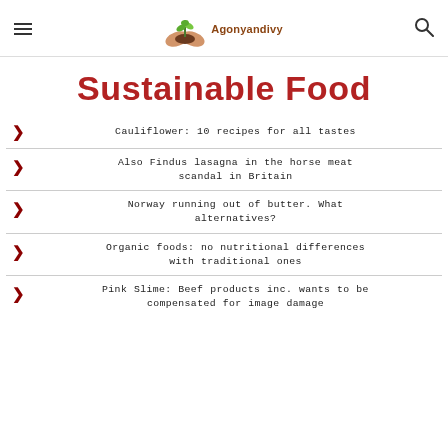Agonyandivy
Sustainable Food
Cauliflower: 10 recipes for all tastes
Also Findus lasagna in the horse meat scandal in Britain
Norway running out of butter. What alternatives?
Organic foods: no nutritional differences with traditional ones
Pink Slime: Beef products inc. wants to be compensated for image damage